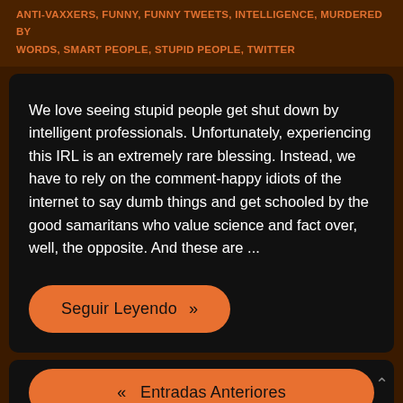ANTI-VAXXERS, FUNNY, FUNNY TWEETS, INTELLIGENCE, MURDERED BY WORDS, SMART PEOPLE, STUPID PEOPLE, TWITTER
We love seeing stupid people get shut down by intelligent professionals. Unfortunately, experiencing this IRL is an extremely rare blessing. Instead, we have to rely on the comment-happy idiots of the internet to say dumb things and get schooled by the good samaritans who value science and fact over, well, the opposite. And these are ...
Seguir Leyendo »
« Entradas Anteriores